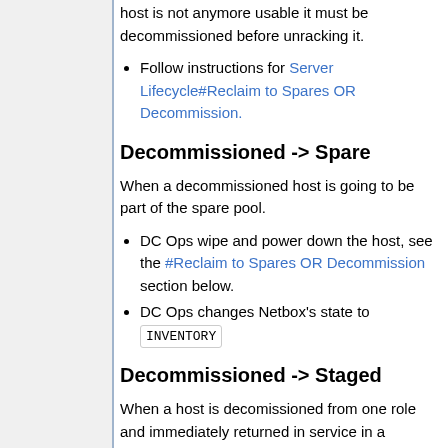host is not anymore usable it must be decommissioned before unracking it.
Follow instructions for Server Lifecycle#Reclaim to Spares OR Decommission.
Decommissioned -> Spare
When a decommissioned host is going to be part of the spare pool.
DC Ops wipe and power down the host, see the #Reclaim to Spares OR Decommission section below.
DC Ops changes Netbox's state to INVENTORY
Decommissioned -> Staged
When a host is decomissioned from one role and immediately returned in service in a different role, usually with a different